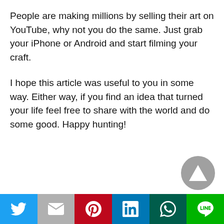People are making millions by selling their art on YouTube, why not you do the same. Just grab your iPhone or Android and start filming your craft.
I hope this article was useful to you in some way. Either way, if you find an idea that turned your life feel free to share with the world and do some good. Happy hunting!
[Figure (other): Grey circular scroll-to-top button with upward triangle arrow in the bottom-right corner of the page]
[Figure (infographic): Social sharing bottom bar with six colored buttons: Twitter (blue, bird icon), Gmail (grey, M icon), Pinterest (red, P icon), LinkedIn (blue, in icon), WhatsApp (dark teal, phone icon), Line (green, chat icon)]